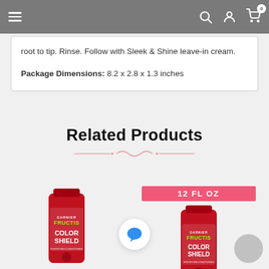Navigation bar with hamburger menu, search, account, and cart icons
root to tip. Rinse. Follow with Sleek & Shine leave-in cream.
Package Dimensions: 8.2 x 2.8 x 1.3 inches
Related Products
[Figure (photo): Garnier Fructis Color Shield conditioner bottle (red)]
[Figure (photo): Garnier Fructis Color Shield conditioner bottle (red) with 12 FL OZ badge]